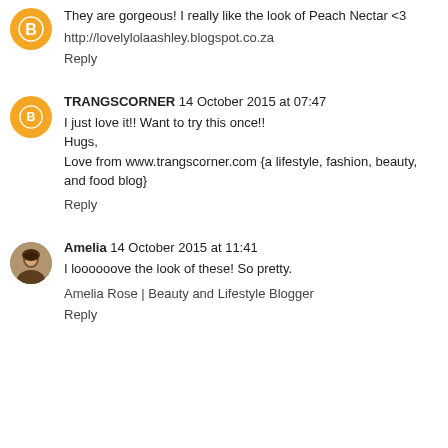[Figure (illustration): Orange Blogger avatar circle icon with B symbol]
They are gorgeous! I really like the look of Peach Nectar <3
http://lovelylolaashley.blogspot.co.za
Reply
[Figure (illustration): Orange Blogger avatar circle icon with B symbol]
TRANGSCORNER  14 October 2015 at 07:47
I just love it!! Want to try this once!!
Hugs,
Love from www.trangscorner.com {a lifestyle, fashion, beauty, and food blog}
Reply
[Figure (photo): Small circular photo of Amelia, a woman with dark hair]
Amelia  14 October 2015 at 11:41
I loooooove the look of these! So pretty.
Amelia Rose | Beauty and Lifestyle Blogger
Reply